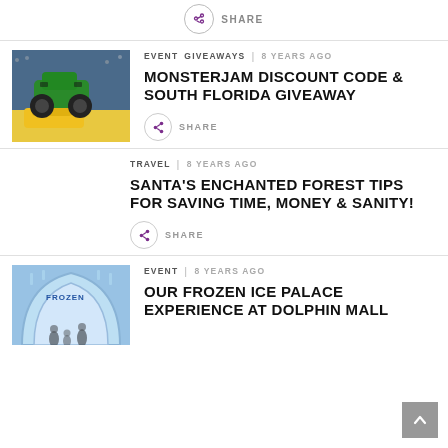[Figure (other): Share button with arrow icon at top]
[Figure (photo): Monster truck (Grave Digger style) mid-air jump at arena, green truck over yellow car]
EVENT   GIVEAWAYS  |  8 YEARS AGO
MONSTERJAM DISCOUNT CODE & SOUTH FLORIDA GIVEAWAY
[Figure (other): Share button with arrow icon]
TRAVEL  |  8 YEARS AGO
SANTA'S ENCHANTED FOREST TIPS FOR SAVING TIME, MONEY & SANITY!
[Figure (other): Share button with arrow icon]
[Figure (photo): Frozen Ice Palace exhibit at Dolphin Mall, icy blue arch entrance with visitors]
EVENT  |  8 YEARS AGO
OUR FROZEN ICE PALACE EXPERIENCE AT DOLPHIN MALL